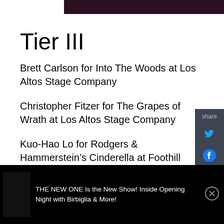[Figure (photo): Dark/purple image banner at the top of the page]
Tier III
Brett Carlson for Into The Woods at Los Altos Stage Company
Christopher Fitzer for The Grapes of Wrath at Los Altos Stage Company
Kuo-Hao Lo for Rodgers & Hammerstein’s Cinderella at Foothill Music Theatre
Amanda Ortmayer for Some Enchanted Evenings at EXIT Theatre
THE NEW ONE Is the New Show! Inside Opening Night with Birbiglia & More!